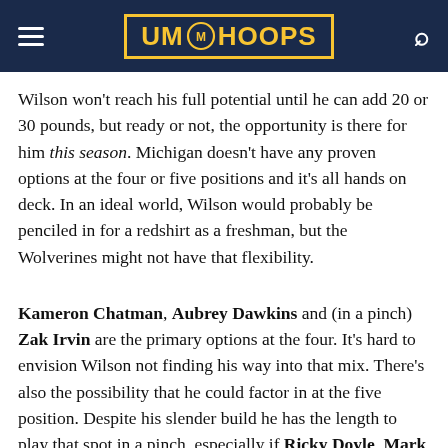UM HOOPS
Wilson won't reach his full potential until he can add 20 or 30 pounds, but ready or not, the opportunity is there for him this season. Michigan doesn't have any proven options at the four or five positions and it's all hands on deck. In an ideal world, Wilson would probably be penciled in for a redshirt as a freshman, but the Wolverines might not have that flexibility.
Kameron Chatman, Aubrey Dawkins and (in a pinch) Zak Irvin are the primary options at the four. It's hard to envision Wilson not finding his way into that mix. There's also the possibility that he could factor in at the five position. Despite his slender build he has the length to play that spot in a pinch, especially if Ricky Doyle, Mark Donnal and Max Bielfeldt struggle or get injured.